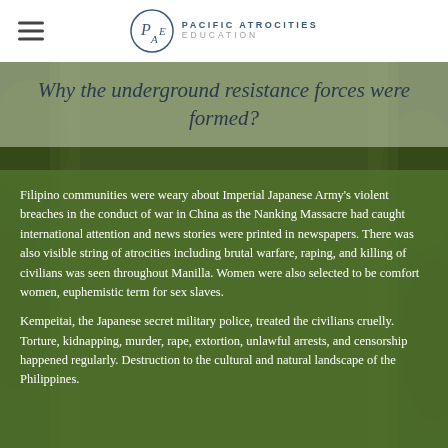Pacific Atrocities Education
Why the underground resistance forces were formed?
Filipino communities were weary about Imperial Japanese Army's violent breaches in the conduct of war in China as the Nanking Massacre had caught international attention and news stories were printed in newspapers. There was also visible string of atrocities including brutal warfare, raping, and killing of civilians was seen throughout Manilla. Women were also selected to be comfort women, euphemistic term for sex slaves.
Kempeitai, the Japanese secret military police, treated the civilians cruelly. Torture, kidnapping, murder, rape, extortion, unlawful arrests, and censorship happened regularly. Destruction to the cultural and natural landscape of the Philippines.